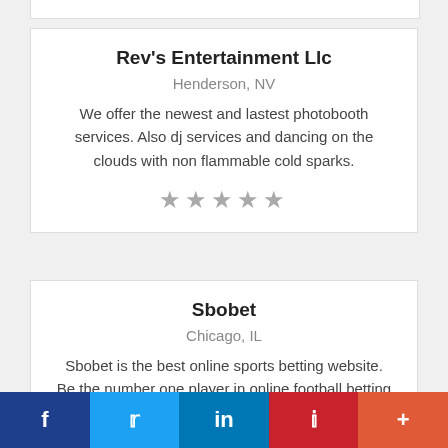Rev's Entertainment Llc
Henderson, NV
We offer the newest and lastest photobooth services. Also dj services and dancing on the clouds with non flammable cold sparks.
Sbobet
Chicago, IL
Sbobet is the best online sports betting website. Be the number one player in online football betting and other sports.
f  Twitter  in  Pinterest  +